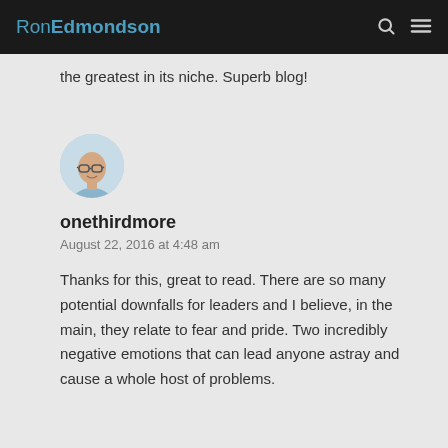RonEdmondson
the greatest in its niche. Superb blog!
[Figure (photo): Circular avatar photo of a bald man with glasses wearing a light blue shirt]
onethirdmore
August 22, 2016 at 4:48 am
Thanks for this, great to read. There are so many potential downfalls for leaders and I believe, in the main, they relate to fear and pride. Two incredibly negative emotions that can lead anyone astray and cause a whole host of problems.